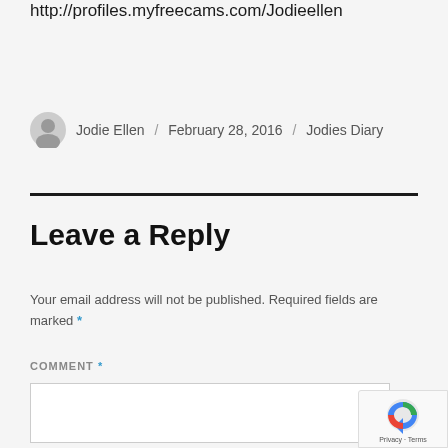http://profiles.myfreecams.com/Jodieellen
Jodie Ellen / February 28, 2016 / Jodies Diary
Leave a Reply
Your email address will not be published. Required fields are marked *
COMMENT *